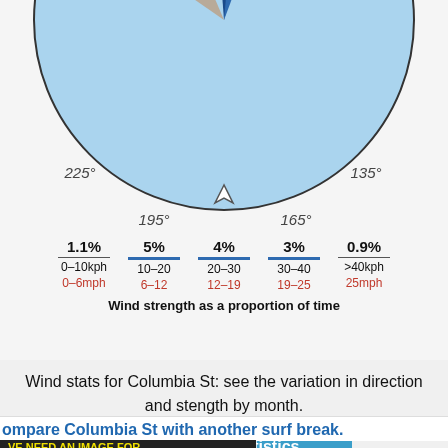[Figure (other): Wind rose diagram showing direction distribution, partially cropped at top. Shows S (south) as mean direction with compass angles 225°, 135°, 195°, 165° visible. Arrow pointing up (south) labeled 'mean'.]
[Figure (infographic): Wind strength legend showing 5 bands: 1.1% for 0-10kph/0-6mph, 5% for 10-20kph/6-12mph, 4% for 20-30kph/12-19mph, 3% for 30-40kph/19-25mph, 0.9% for >40kph/25mph. Title: Wind strength as a proportion of time.]
Wind stats for Columbia St: see the variation in direction and stength by month.
View wind statistics
ompare Columbia St with another surf break.
VE NEED AN IMAGE FOR